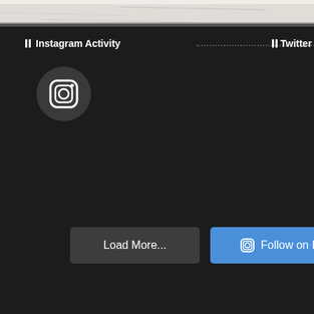[Figure (screenshot): Top edge showing a stone/concrete textured image cropped at top]
Instagram Activity
Twitter ac
Tweets by @
[Figure (logo): Instagram logo icon in a dark circular background]
Load More...
Follow on Instagram